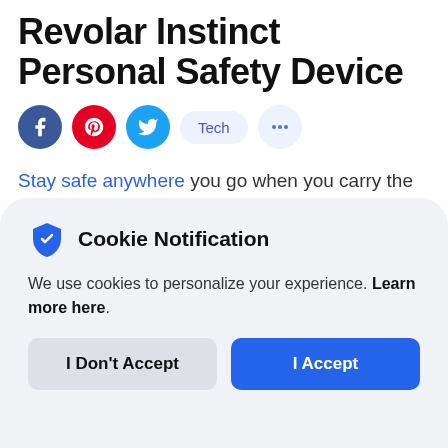Revolar Instinct Personal Safety Device
[Figure (other): Social sharing icons row: Facebook (dark blue circle), Pinterest (red circle), Twitter (cyan circle), Tech tag button (light blue pill), dots/more button (light blue circle)]
Stay safe anywhere you go when you carry the Revolar Instinct Personal Safety Device. This compact gadget easily hangs from your keys
[Figure (screenshot): Cookie notification modal with shield icon, title 'Cookie Notification', body text 'We use cookies to personalize your experience. Learn more here.', two buttons: 'I Don't Accept' (gray) and 'I Accept' (blue)]